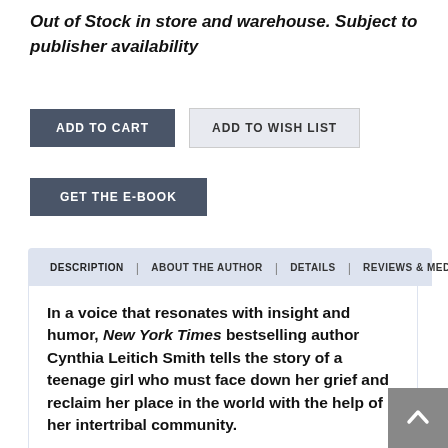Out of Stock in store and warehouse. Subject to publisher availability
ADD TO CART
ADD TO WISH LIST
GET THE E-BOOK
DESCRIPTION | ABOUT THE AUTHOR | DETAILS | REVIEWS & MEDIA
In a voice that resonates with insight and humor, New York Times bestselling author Cynthia Leitich Smith tells the story of a teenage girl who must face down her grief and reclaim her place in the world with the help of her intertribal community.
It's been six months since Cassidy Rain Berghoff's best friend, Galen, died, and up until now she has